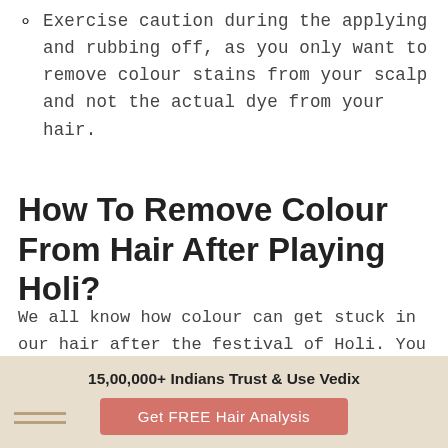Exercise caution during the applying and rubbing off, as you only want to remove colour stains from your scalp and not the actual dye from your hair.
How To Remove Colour From Hair After Playing Holi?
We all know how colour can get stuck in our hair after the festival of Holi. You can never be too sure of the colour quality others are using and if it is anything but au naturel, it is bound to cause some cleaning problems afterwards.
Here are some Ayurvedic ways to make sure your hair returns to its healthy state, so that you can have a no-
15,00,000+ Indians Trust & Use Vedix
Get FREE Hair Analysis